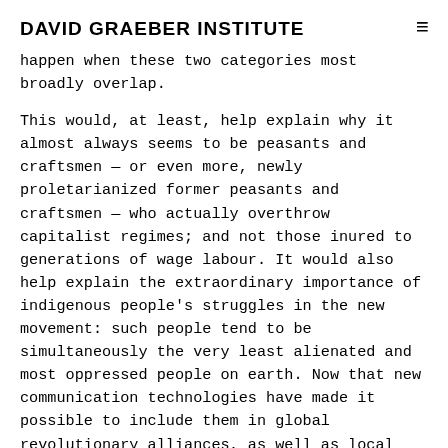DAVID GRAEBER INSTITUTE
happen when these two categories most broadly overlap.
This would, at least, help explain why it almost always seems to be peasants and craftsmen — or even more, newly proletarianized former peasants and craftsmen — who actually overthrow capitalist regimes; and not those inured to generations of wage labour. It would also help explain the extraordinary importance of indigenous people's struggles in the new movement: such people tend to be simultaneously the very least alienated and most oppressed people on earth. Now that new communication technologies have made it possible to include them in global revolutionary alliances, as well as local resistance and revolt, it